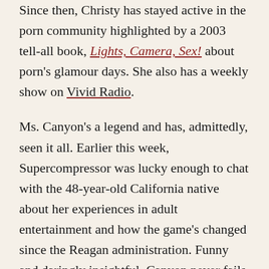Since then, Christy has stayed active in the porn community highlighted by a 2003 tell-all book, Lights, Camera, Sex! about porn's glamour days. She also has a weekly show on Vivid Radio.
Ms. Canyon's a legend and has, admittedly, seen it all. Earlier this week, Supercompressor was lucky enough to chat with the 48-year-old California native about her experiences in adult entertainment and how the game's changed since the Reagan administration. Funny and daringly insightful, Canyon never fails to express herself intelligently while maintaining that innocent charm she showed on camera for three decades.
The Golden Age of porn may be a thing of the past, but Canyon is very much in the present and likely